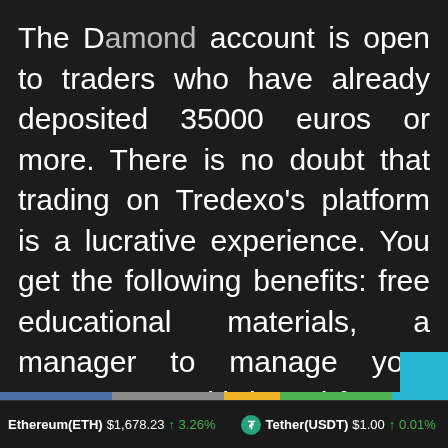The Diamond account is open to traders who have already deposited 35000 euros or more. There is no doubt that trading on Tredexo's platform is a lucrative experience. You get the following benefits: free educational materials, a manager to manage your account, no withdrawal fees, a manager to manage your account, and an international MasterCard for withdrawing quickly. Trading sessions with expert analysts are also available. The trading journe...
Ethereum(ETH) $1,678.23 ↑ 3.26% | Tether(USDT) $1.00 ↑ 0.01%